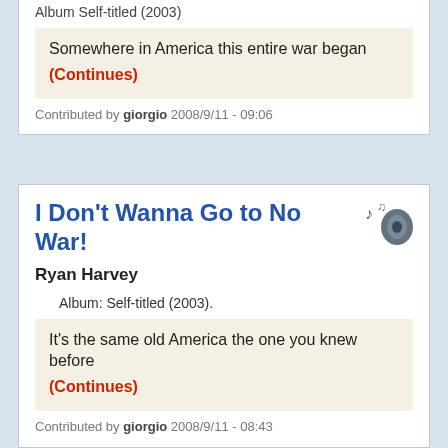Album Self-titled (2003)
Somewhere in America this entire war began
(Continues)
Contributed by giorgio 2008/9/11 - 09:06
I Don't Wanna Go to No War!
Ryan Harvey
Album: Self-titled (2003).
It's the same old America the one you knew before
(Continues)
Contributed by giorgio 2008/9/11 - 08:43